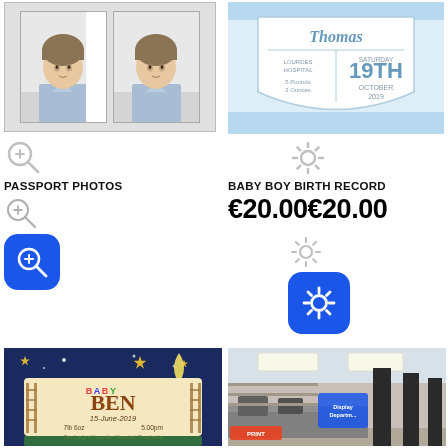[Figure (photo): Passport photos showing two identical headshots of a woman in a light blue shirt against a white background]
[Figure (infographic): Baby boy birth record card for Thomas, born Saturday 19th October 2019 at Lourdes Hospital, 5 Pounds 2 Ounces, styled with blue stripes]
PASSPORT PHOTOS
BABY BOY BIRTH RECORD
€20.00€20.00
[Figure (infographic): Baby Ben birth announcement poster with night sky theme, Baby Ben, 15-June-2019, 7lb 6oz, 5.00pm, Our Lady of Lourdes Hospital, Drogheda]
[Figure (photo): Interior photo of a print/copy shop showing displays and print express signage]